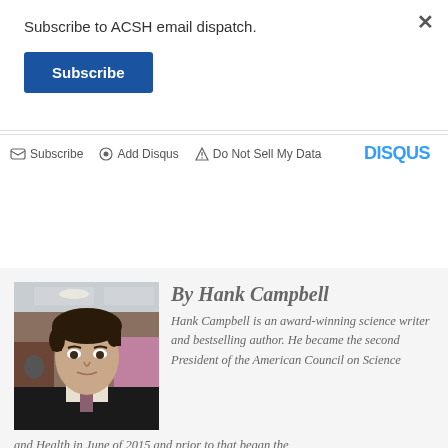Subscribe to ACSH email dispatch.
Subscribe
Subscribe  Add Disqus  Do Not Sell My Data  DISQUS
[Figure (photo): Headshot photo of Hank Campbell, a man with dark hair wearing a suit, in an indoor setting.]
By Hank Campbell
Hank Campbell is an award-winning science writer and bestselling author. He became the second President of the American Council on Science and Health in June of 2015 and prior to that began the